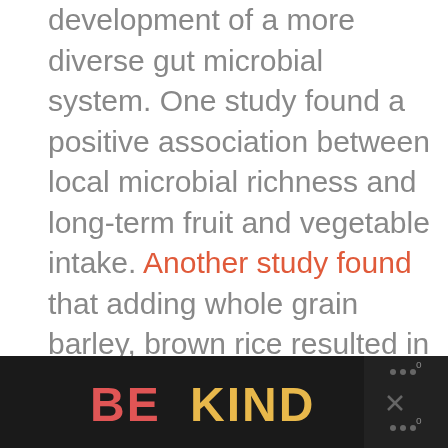development of a more diverse gut microbial system. One study found a positive association between local microbial richness and long-term fruit and vegetable intake. Another study found that adding whole grain barley, brown rice resulted in an increase in microbial diversity.
[Figure (other): Advertisement banner at bottom of page reading 'BE KIND' in large red and yellow text with a decorative illustrated element and a close button with X icon]